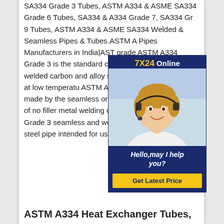SA334 Grade 3 Tubes, ASTM A334 & ASME SA334 Grade 6 Tubes, SA334 & A334 Grade 7, SA334 Gr 9 Tubes, ASTM A334 & ASME SA334 Welded & Seamless Pipes & Tubes.ASTM A Pipes Manufacturers in India|AST grade ASTM A334 Grade 3 is the standard covers wall seamless ar welded carbon and alloy steel pip intended for use at low temperatu ASTM A334 Grade 3 alloy pipe si made by the seamless or welding with the addition of no filler metal welding operation.; ASTM A334 Grade 3 seamless and welded carbon and alloy steel pipe intended for use at low temperatures.
[Figure (photo): Online customer service advertisement banner with '7X24 Online' header, photo of a woman wearing a headset smiling, text 'Hello, may I help you?' and a yellow 'Get Latest Price' button]
ASTM A334 Heat Exchanger Tubes,